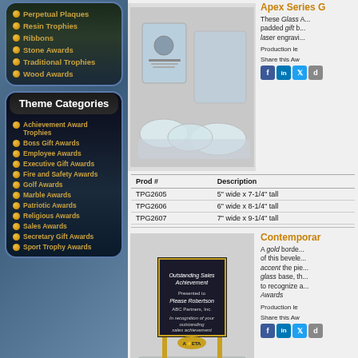Perpetual Plaques
Resin Trophies
Ribbons
Stone Awards
Traditional Trophies
Wood Awards
Theme Categories
Achievement Award Trophies
Boss Gift Awards
Employee Awards
Executive Gift Awards
Fire and Safety Awards
Golf Awards
Marble Awards
Patriotic Awards
Religious Awards
Sales Awards
Secretary Gift Awards
Sport Trophy Awards
[Figure (photo): Glass apex awards with frosted bases]
Apex Series G
These Glass Awards come in a padded gift box and are personalized by laser engraving.
Production le
Share this Aw
| Prod # | Description |
| --- | --- |
| TPG2605 | 5" wide x 7-1/4" tall |
| TPG2606 | 6" wide x 8-1/4" tall |
| TPG2607 | 7" wide x 9-1/4" tall |
[Figure (photo): Contemporary glass award with gold border and black panel on glass base]
Contemporar
A gold border accents the black panel of this beveled plaque. Gold accents accent the piece. Mounted on a glass base, this award is perfect to recognize achievement. Glass Awards
Production le
Share this Aw
| Prod # | Description |
| --- | --- |